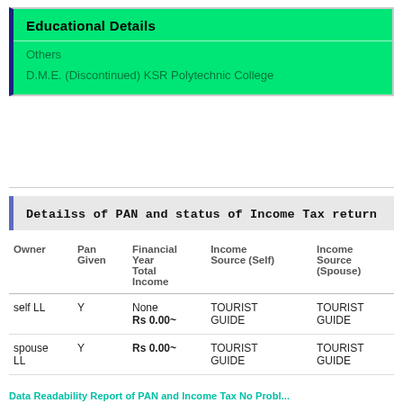Educational Details
Others
D.M.E. (Discontinued) KSR Polytechnic College
Detailss of PAN and status of Income Tax return
| Owner | Pan Given | Financial Year Total Income | Income Source (Self) | Income Source (Spouse) |
| --- | --- | --- | --- | --- |
| self LL | Y | None
Rs 0.00~ | TOURIST GUIDE | TOURIST GUIDE |
| spouse LL | Y | Rs 0.00~ | TOURIST GUIDE | TOURIST GUIDE |
Data Readability Report of PAN and Income Tax No Problematic...